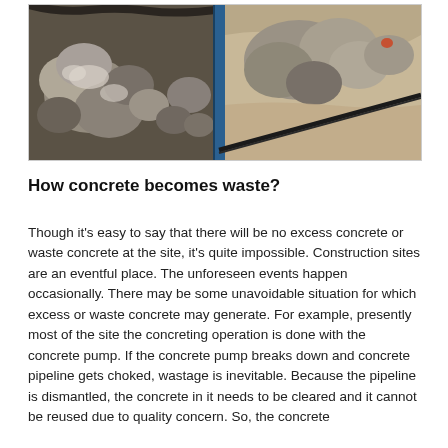[Figure (photo): Photo of construction site debris showing broken concrete chunks and rubble in what appears to be a dumpster or excavation area, with aggregate and sandy material visible on the right side. A blue metal bar/pipe is visible in the center of the image.]
How concrete becomes waste?
Though it's easy to say that there will be no excess concrete or waste concrete at the site, it's quite impossible. Construction sites are an eventful place. The unforeseen events happen occasionally. There may be some unavoidable situation for which excess or waste concrete may generate. For example, presently most of the site the concreting operation is done with the concrete pump. If the concrete pump breaks down and concrete pipeline gets choked, wastage is inevitable. Because the pipeline is dismantled, the concrete in it needs to be cleared and it cannot be reused due to quality concern. So, the concrete